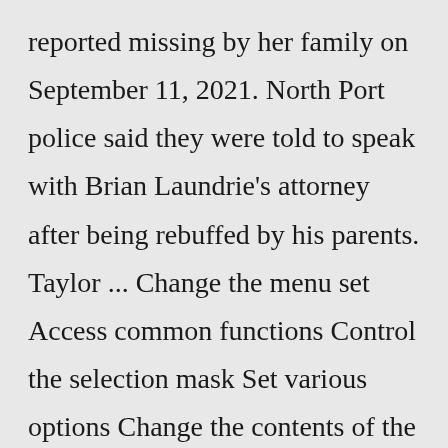reported missing by her family on September 11, 2021. North Port police said they were told to speak with Brian Laundrie's attorney after being rebuffed by his parents. Taylor ... Change the menu set Access common functions Control the selection mask Set various options Change the contents of the sidebar Tip: By default, parts of the Status line are collapsed. Click the show/hide buttons to expand hidden